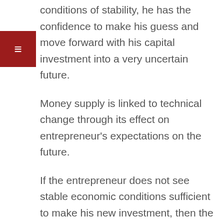conditions of stability, he has the confidence to make his guess and move forward with his capital investment into a very uncertain future.
Money supply is linked to technical change through its effect on entrepreneur's expectations on the future.
If the entrepreneur does not see stable economic conditions sufficient to make his new investment, then the rate of capital investment will cause economic decline in the future because future intermediate markets of relationships and complementary ventures are not created, that result from capital investment.
Capital investments today, by entrepreneurs